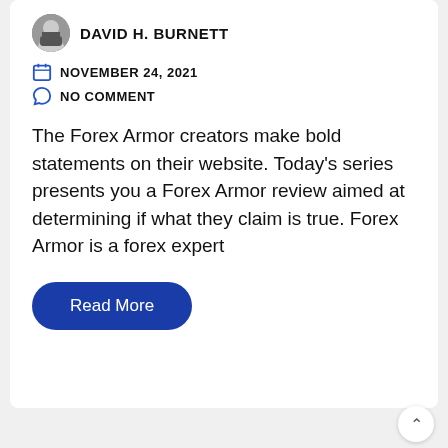DAVID H. BURNETT
NOVEMBER 24, 2021
NO COMMENT
The Forex Armor creators make bold statements on their website. Today's series presents you a Forex Armor review aimed at determining if what they claim is true. Forex Armor is a forex expert
Read More